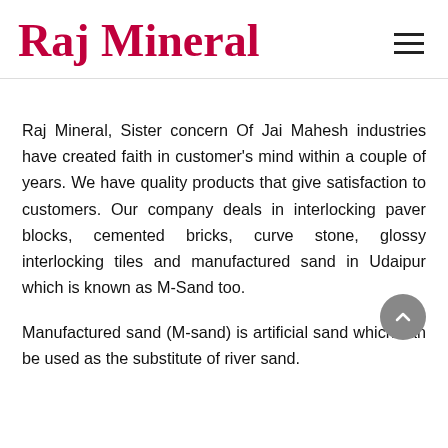Raj Mineral
Raj Mineral, Sister concern Of Jai Mahesh industries have created faith in customer's mind within a couple of years. We have quality products that give satisfaction to customers. Our company deals in interlocking paver blocks, cemented bricks, curve stone, glossy interlocking tiles and manufactured sand in Udaipur which is known as M-Sand too.
Manufactured sand (M-sand) is artificial sand which can be used as the substitute of river sand.